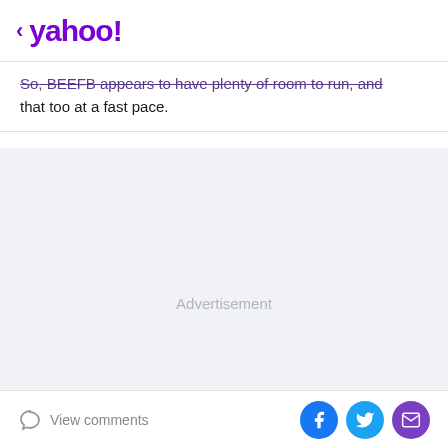< yahoo!
So, BEEFB appears to have plenty of room to run, and that too at a fast pace.
[Figure (other): Advertisement placeholder area with light gray background and centered 'Advertisement' label]
View comments